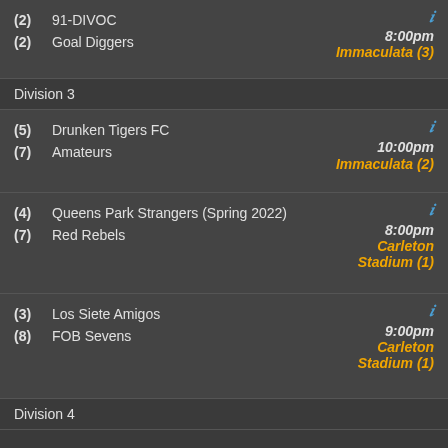(2) 91-DIVOC vs (2) Goal Diggers — 8:00pm — Immaculata (3)
Division 3
(5) Drunken Tigers FC vs (7) Amateurs — 10:00pm — Immaculata (2)
(4) Queens Park Strangers (Spring 2022) vs (7) Red Rebels — 8:00pm — Carleton Stadium (1)
(3) Los Siete Amigos vs (8) FOB Sevens — 9:00pm — Carleton Stadium (1)
Division 4